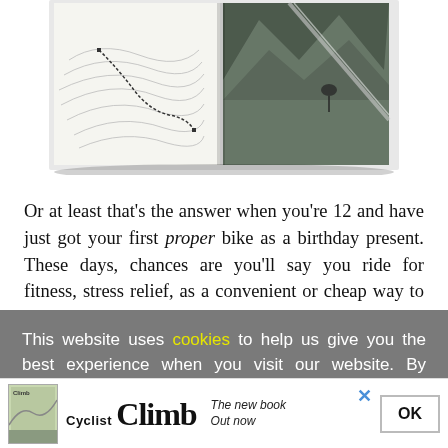[Figure (photo): Partial view of open book showing a topographic map on left page and a mountain cycling photo on right page]
Or at least that’s the answer when you’re 12 and have just got your first proper bike as a birthday present. These days, chances are you’ll say you ride for fitness, stress relief, as a convenient or cheap way to get from A to B, or perhaps even to help the environment.
This website uses cookies to help us give you the best experience when you visit our website. By continuing to use this website, you consent to our use of these cookies.
[Figure (other): Advertisement banner for Cyclist Climb book with book cover image, text Cyclist Climb The new book Out now, close X button and OK button]